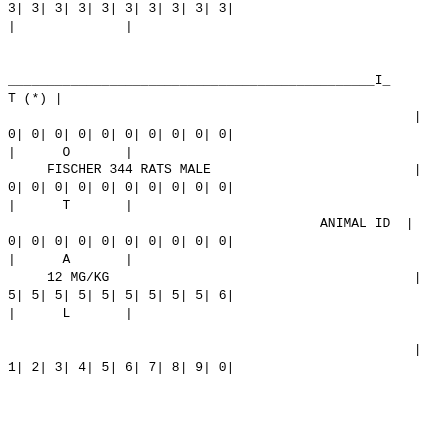| 3| | 3| | 3| | 3| | 3| | 3| | 3| | 3| | 3| | 3| |
| | |  |  |  | | |  |  |  |  |  |
|  |  |  |  |  |  |  |  |  |  |
| _______________________________________________ | I_ |
| T (*) | | |
|  | | |
| 0| | 0| | 0| | 0| | 0| | 0| | 0| | 0| | 0| | 0| |
| | | O | | |
|  | FISCHER 344 RATS MALE |  | | |
| 0| | 0| | 0| | 0| | 0| | 0| | 0| | 0| | 0| | 0| |
| | | T | | |
|  |  | ANIMAL ID | | |
| 0| | 0| | 0| | 0| | 0| | 0| | 0| | 0| | 0| | 0| |
| | | A | | |
|  | 12 MG/KG |  | | |
| 5| | 5| | 5| | 5| | 5| | 5| | 5| | 5| | 5| | 6| |
| | | L | | |
|  |  |  | | |
| 1| | 2| | 3| | 4| | 5| | 6| | 7| | 8| | 9| | 0| |